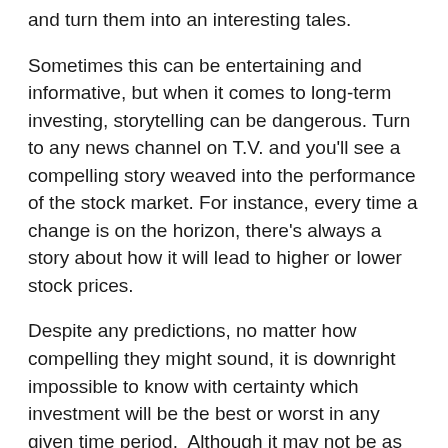and turn them into an interesting tales.
Sometimes this can be entertaining and informative, but when it comes to long-term investing, storytelling can be dangerous. Turn to any news channel on T.V. and you'll see a compelling story weaved into the performance of the stock market. For instance, every time a change is on the horizon, there's always a story about how it will lead to higher or lower stock prices.
Despite any predictions, no matter how compelling they might sound, it is downright impossible to know with certainty which investment will be the best or worst in any given time period. Although it may not be as attention grabbing, a long-term investing perspective will ignore the media hype. That's because the key to success in long-term investing is to avoid getting sidetracked by short-term events